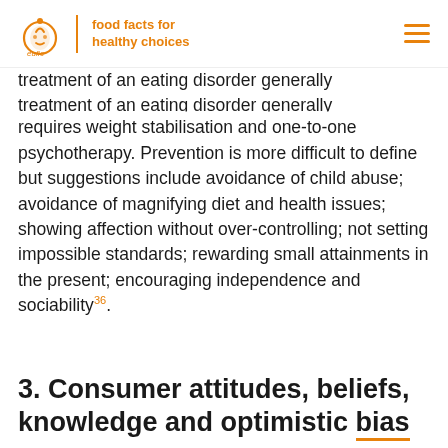food facts for healthy choices | eufic
treatment of an eating disorder generally requires weight stabilisation and one-to-one psychotherapy. Prevention is more difficult to define but suggestions include avoidance of child abuse; avoidance of magnifying diet and health issues; showing affection without over-controlling; not setting impossible standards; rewarding small attainments in the present; encouraging independence and sociability36.
3. Consumer attitudes, beliefs, knowledge and optimistic bias